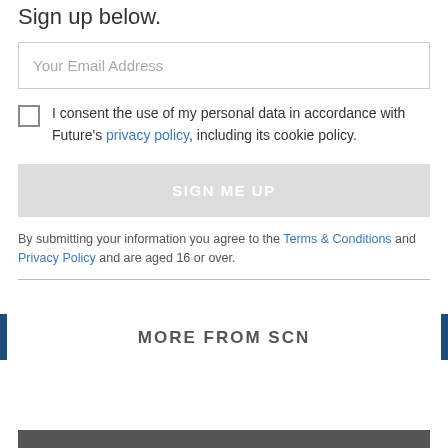Sign up below.
Your Email Address
I consent the use of my personal data in accordance with Future's privacy policy, including its cookie policy.
SIGN ME UP
By submitting your information you agree to the Terms & Conditions and Privacy Policy and are aged 16 or over.
MORE FROM SCN